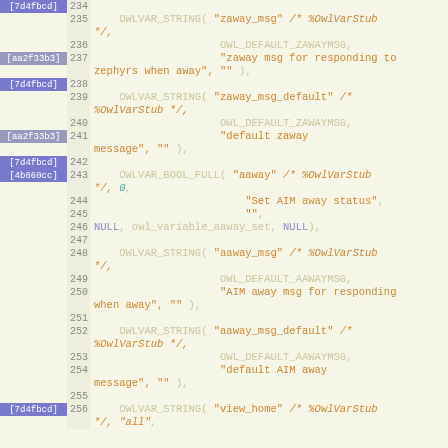[Figure (screenshot): Source code diff/blame view showing C code lines 234-256, with commit hashes [7d4fbcd] and [aa2f33b3] and [4b660cc] in the left gutter, line numbers, and syntax-highlighted code including OWLVAR_STRING and OWLVAR_BOOL_FULL macro calls for zaway_msg, zaway_msg_default, aaway, aaway_msg, aaway_msg_default, and view_home variables.]